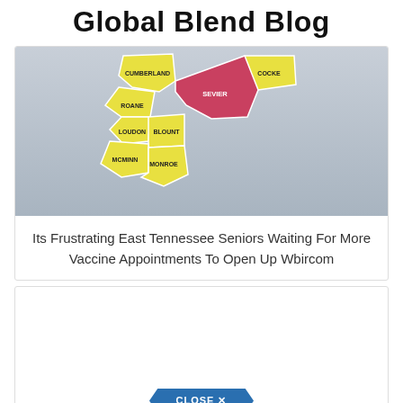Global Blend Blog
[Figure (map): Map of East Tennessee counties with yellow county regions and one county highlighted in red/pink, showing county names including Cumberland, Roane, Cocke, Loudon, Blount, Sevier, McMinn, Monroe]
Its Frustrating East Tennessee Seniors Waiting For More Vaccine Appointments To Open Up Wbircom
[Figure (other): White content card with a close button at the bottom styled as a dark blue pentagon/arrow shape with text CLOSE X]